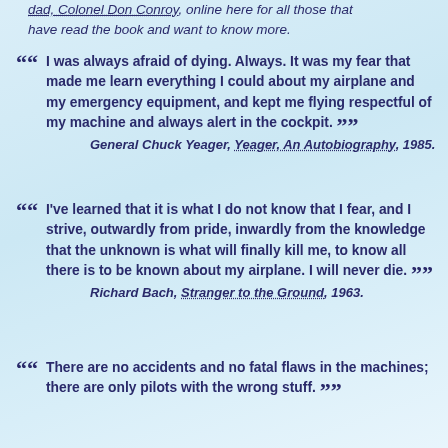dad, Colonel Don Conroy, online here for all those that have read the book and want to know more.
“ I was always afraid of dying. Always. It was my fear that made me learn everything I could about my airplane and my emergency equipment, and kept me flying respectful of my machine and always alert in the cockpit. ”
General Chuck Yeager, Yeager, An Autobiography, 1985.
“ I’ve learned that it is what I do not know that I fear, and I strive, outwardly from pride, inwardly from the knowledge that the unknown is what will finally kill me, to know all there is to be known about my airplane. I will never die. ”
Richard Bach, Stranger to the Ground, 1963.
“ There are no accidents and no fatal flaws in the machines; there are only pilots with the wrong stuff. ”